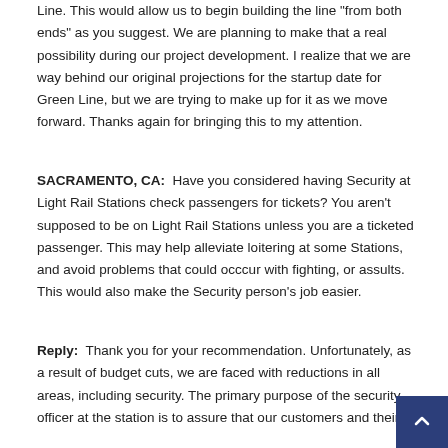Line. This would allow us to begin building the line "from both ends" as you suggest. We are planning to make that a real possibility during our project development. I realize that we are way behind our original projections for the startup date for Green Line, but we are trying to make up for it as we move forward. Thanks again for bringing this to my attention.
SACRAMENTO, CA: Have you considered having Security at Light Rail Stations check passengers for tickets? You aren't supposed to be on Light Rail Stations unless you are a ticketed passenger. This may help alleviate loitering at some Stations, and avoid problems that could occcur with fighting, or assults. This would also make the Security person's job easier.
Reply: Thank you for your recommendation. Unfortunately, as a result of budget cuts, we are faced with reductions in all areas, including security. The primary purpose of the security officer at the station is to assure that our customers and their